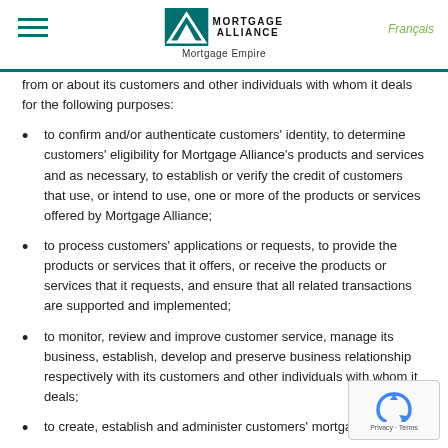Mortgage Alliance – Mortgage Empire | Français
from or about its customers and other individuals with whom it deals for the following purposes:
to confirm and/or authenticate customers' identity, to determine customers' eligibility for Mortgage Alliance's products and services and as necessary, to establish or verify the credit of customers that use, or intend to use, one or more of the products or services offered by Mortgage Alliance;
to process customers' applications or requests, to provide the products or services that it offers, or receive the products or services that it requests, and ensure that all related transactions are supported and implemented;
to monitor, review and improve customer service, manage its business, establish, develop and preserve business relationship respectively with its customers and other individuals with whom it deals;
to create, establish and administer customers' mortgage